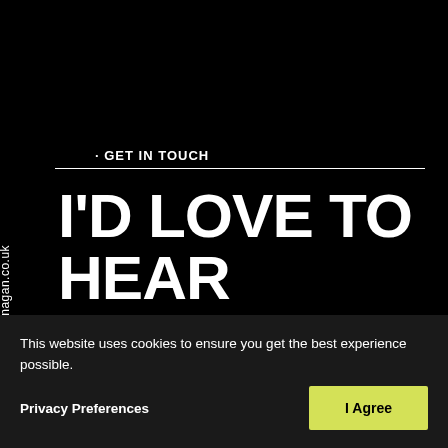· GET IN TOUCH
hello@adam-flanagan.co.uk
I'D LOVE TO HEAR FROM YOU.
07788 267627
[Figure (photo): Partial photo of a person visible at bottom center of dark background section]
This website uses cookies to ensure you get the best experience possible.
Privacy Preferences
I Agree